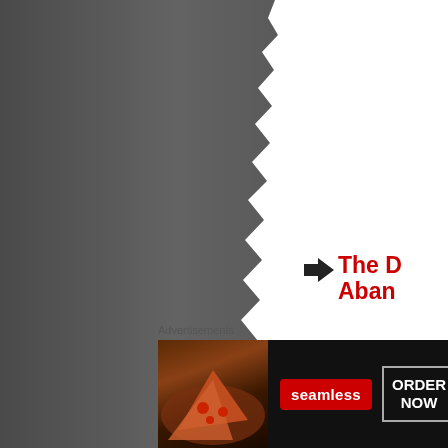[Figure (photo): Large grey photograph occupying the left two-thirds of the page, showing a dark grey surface with a torn paper edge on the right side]
The D... Aband...
Posted: Janua... abandoned m... Abandoned W... explorin...
Advertisements
[Figure (photo): Seamless food delivery advertisement banner showing pizza slices on the left, a red Seamless logo badge in the center, and an 'ORDER NOW' button on the right with white border, on a dark background]